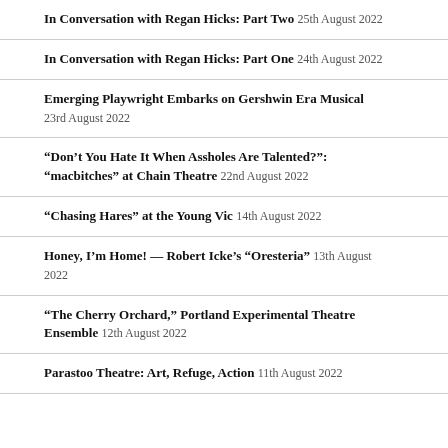In Conversation with Regan Hicks: Part Two 25th August 2022
In Conversation with Regan Hicks: Part One 24th August 2022
Emerging Playwright Embarks on Gershwin Era Musical 23rd August 2022
“Don’t You Hate It When Assholes Are Talented?”: “macbitches” at Chain Theatre 22nd August 2022
“Chasing Hares” at the Young Vic 14th August 2022
Honey, I’m Home! — Robert Icke’s “Oresteria” 13th August 2022
“The Cherry Orchard,” Portland Experimental Theatre Ensemble 12th August 2022
Parastoo Theatre: Art, Refuge, Action 11th August 2022